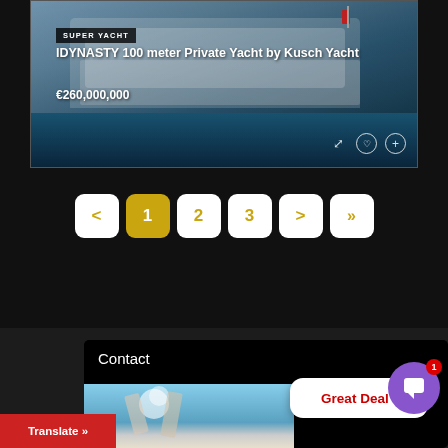[Figure (photo): Super yacht listing card showing IDYNASTY 100 meter Private Yacht by Kusch Yacht, priced at €260,000,000. White luxury yacht on the water with a red flag. Badge 'SUPER YACHT' in top left, title and price in white text, icons in bottom right (expand, heart, plus).]
1  2  3  >  >>
Contact
Great Deal !
Translate »